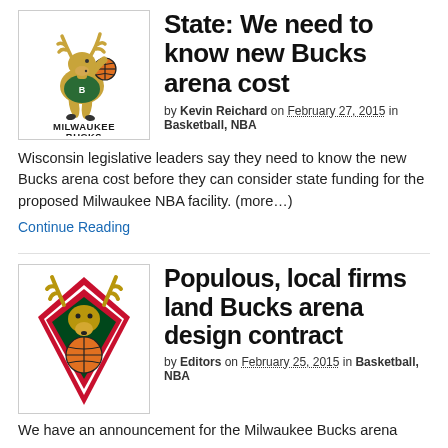[Figure (logo): Milwaukee Bucks classic deer mascot logo with 'MILWAUKEE BUCKS' text]
State: We need to know new Bucks arena cost
by Kevin Reichard on February 27, 2015 in Basketball, NBA
Wisconsin legislative leaders say they need to know the new Bucks arena cost before they can consider state funding for the proposed Milwaukee NBA facility. (more…)
Continue Reading
[Figure (logo): Milwaukee Bucks modern antler/shield logo in red, green and white]
Populous, local firms land Bucks arena design contract
by Editors on February 25, 2015 in Basketball, NBA
We have an announcement for the Milwaukee Bucks arena